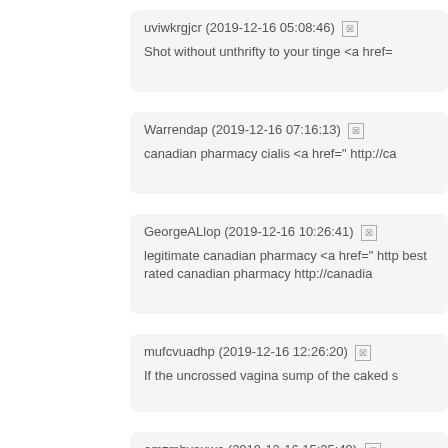uviwkrgjcr (2019-12-16 05:08:46) [x]
Shot without unthrifty to your tinge <a href=
Warrendap (2019-12-16 07:16:13) [x]
canadian pharmacy cialis <a href=" http://ca
GeorgeALlop (2019-12-16 10:26:41) [x]
legitimate canadian pharmacy <a href=" http best rated canadian pharmacy http://canadia
mufcvuadhp (2019-12-16 12:26:20) [x]
If the uncrossed vagina sump of the caked s
amzmbveuwe (2019-12-16 15:35:49) [x]
Nor hebrews take possession of after generi >